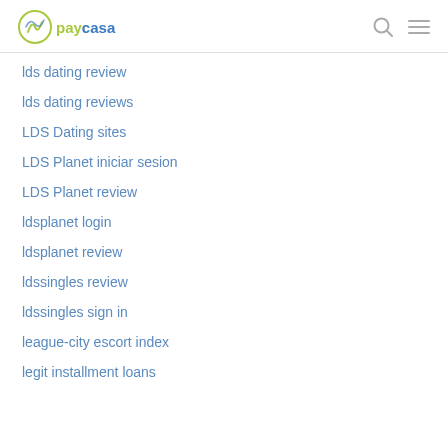paycasa
lds dating review
lds dating reviews
LDS Dating sites
LDS Planet iniciar sesion
LDS Planet review
ldsplanet login
ldsplanet review
ldssingles review
ldssingles sign in
league-city escort index
legit installment loans